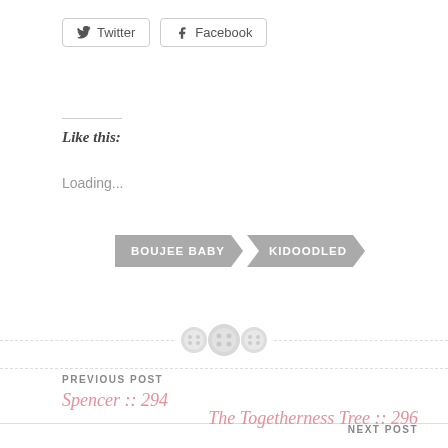[Figure (other): Twitter and Facebook social share buttons]
Like this:
Loading...
[Figure (other): Two arrow-shaped tag labels: BOUJEE BABY and KIDOODLED]
[Figure (other): Decorative dashed divider with three button/sewing-button icons]
PREVIOUS POST
Spencer :: 294
NEXT POST
The Togetherness Tree :: 296